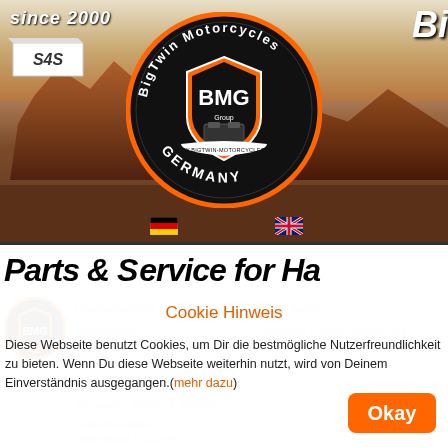[Figure (screenshot): BigTwin Motorcycles Germany (BMG) website header with desert landscape background, BMG circular orange and black logo in center, 'since 2000' text top left, S4S logo top left, German and UK flags, 'Parts & Service for Ha...' banner, LOADING overlay, small BMG logo, cookie notice dialog with 'Cookie Hinweis' title, cookie text in German, and orange 'Okay' button]